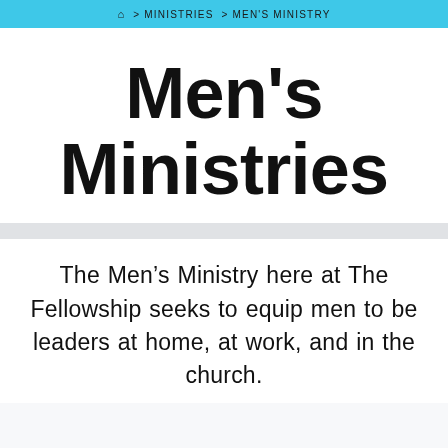🏠 > MINISTRIES > MEN'S MINISTRY
Men's Ministries
The Men's Ministry here at The Fellowship seeks to equip men to be leaders at home, at work, and in the church.